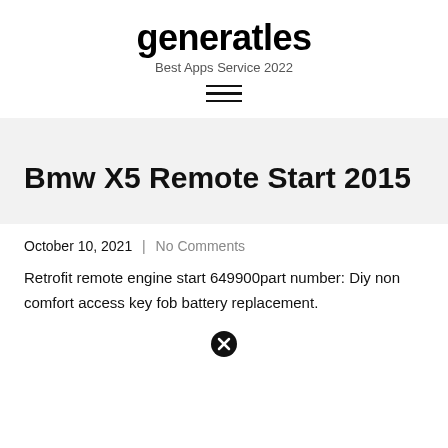generatles
Best Apps Service 2022
Bmw X5 Remote Start 2015
October 10, 2021 | No Comments
Retrofit remote engine start 649900part number: Diy non comfort access key fob battery replacement.